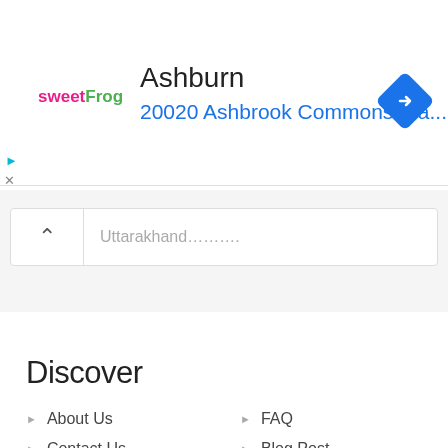[Figure (infographic): SweetFrog advertisement banner showing location in Ashburn at 20020 Ashbrook Commons Pla... with a blue navigation/directions diamond icon on the right]
Uttarakhand...........
Discover
About Us
FAQ
Contact Us
Blog Post